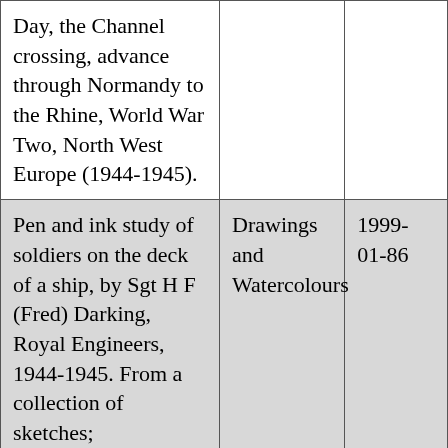| Day, the Channel crossing, advance through Normandy to the Rhine, World War Two, North West Europe (1944-1945). |  |  |
| Pen and ink study of soldiers on the deck of a ship, by Sgt H F (Fred) Darking, Royal Engineers, 1944-1945. From a collection of sketches; preparations for D- | Drawings and Watercolours | 1999-01-86 |